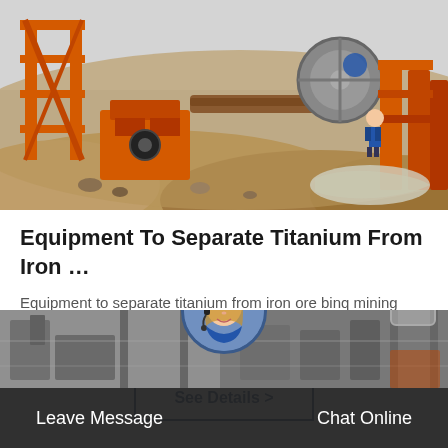[Figure (photo): Outdoor mining site with orange heavy machinery, conveyor systems, and a worker in blue jacket standing among piles of earth and gravel under an overcast sky.]
Equipment To Separate Titanium From Iron …
Equipment to separate titanium from iron ore binq mining ilmenite ore mining machine mobile crushing plant then trucks transport t…
[Figure (photo): Industrial factory interior in grayscale with large equipment, and a circular avatar photo of a smiling blonde woman wearing a headset overlaid at the top center.]
Leave Message    Chat Online